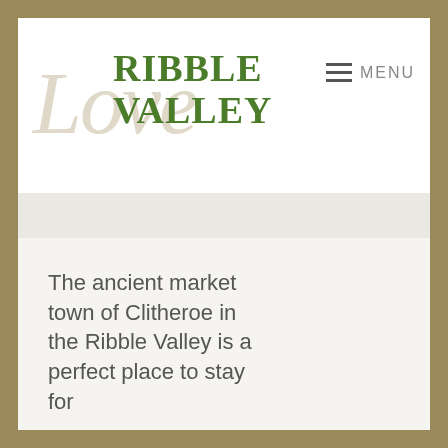[Figure (logo): Love Ribble Valley logo with cursive 'Love' in beige/tan and bold 'RIBBLE VALLEY' in dark green serif font]
MENU
The ancient market town of Clitheroe in the Ribble Valley is a perfect place to stay for